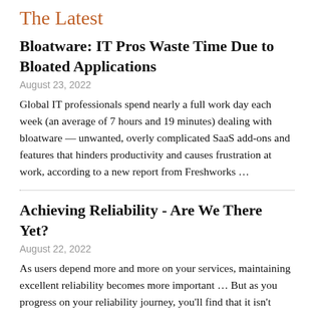The Latest
Bloatware: IT Pros Waste Time Due to Bloated Applications
August 23, 2022
Global IT professionals spend nearly a full work day each week (an average of 7 hours and 19 minutes) dealing with bloatware — unwanted, overly complicated SaaS add-ons and features that hinders productivity and causes frustration at work, according to a new report from Freshworks …
Achieving Reliability - Are We There Yet?
August 22, 2022
As users depend more and more on your services, maintaining excellent reliability becomes more important … But as you progress on your reliability journey, you'll find that it isn't really about a single destination. As services change and become more complex, reliability will need to